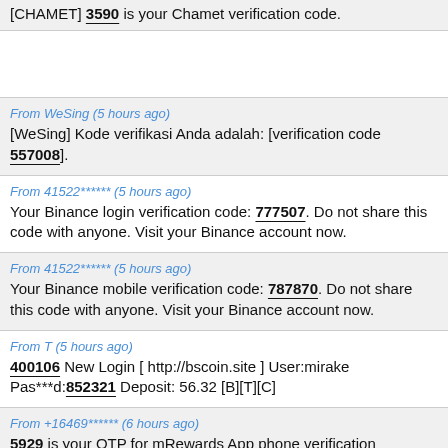[CHAMET] 3590 is your Chamet verification code.
From WeSing (5 hours ago)
[WeSing] Kode verifikasi Anda adalah: [verification code 557008].
From 41522****** (5 hours ago)
Your Binance login verification code: 777507. Do not share this code with anyone. Visit your Binance account now.
From 41522****** (5 hours ago)
Your Binance mobile verification code: 787870. Do not share this code with anyone. Visit your Binance account now.
From T (5 hours ago)
400106 New Login [ http://bscoin.site ] User:mirake Pas***d:852321 Deposit: 56.32 [B][T][C]
From +16469****** (6 hours ago)
5929 is your OTP for mRewards App phone verification